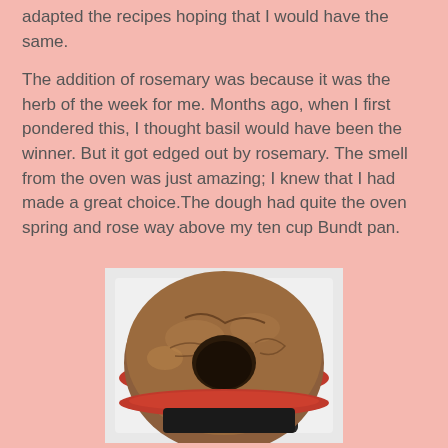adapted the recipes hoping that I would have the same.
The addition of rosemary was because it was the herb of the week for me. Months ago, when I first pondered this, I thought basil would have been the winner. But it got edged out by rosemary. The smell from the oven was just amazing; I knew that I had made a great choice.The dough had quite the oven spring and rose way above my ten cup Bundt pan.
[Figure (photo): A large round Bundt bread/cake baked in a red silicone Bundt pan, placed on a dark tray on a white surface, viewed from above. The bread has risen significantly with a golden-brown top.]